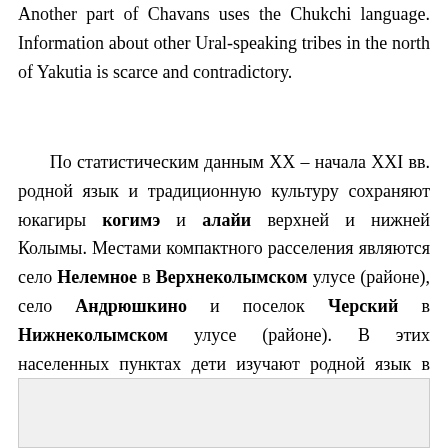Another part of Chavans uses the Chukchi language. Information about other Ural-speaking tribes in the north of Yakutia is scarce and contradictory.
По статистическим данным XX – начала XXI вв. родной язык и традиционную культуру сохраняют юкагиры кодимэ и алайи верхней и нижней Колымы. Местами компактного расселения являются село Нелемное в Верхнеколымском улусе (районе), село Андрюшкино и поселок Черский в Нижнеколымском улусе (районе). В этих населенных пунктах дети изучают родной язык в школьных программах начиная с младших классов.
[Figure (other): Image/figure area at bottom of page (content not visible)]